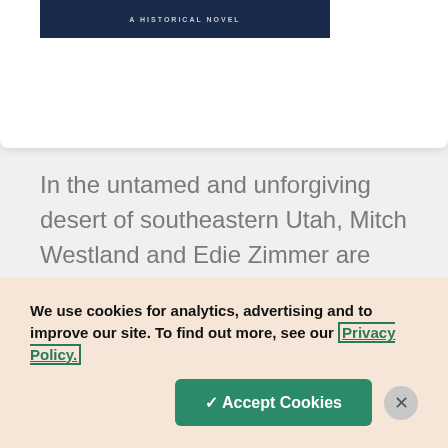[Figure (illustration): Book cover strip showing 'A HISTORICAL NOVEL' text on a dark navy background]
In the untamed and unforgiving desert of southeastern Utah, Mitch Westland and Edie Zimmer are among the Mormon settlers determined to make their homes amid the harshest of circumstances. Threatened by Indians, competing ranchers, and cattle rustlers, the young couple must prevail against man, nature, and their own fears in
We use cookies for analytics, advertising and to improve our site. To find out more, see our Privacy Policy.